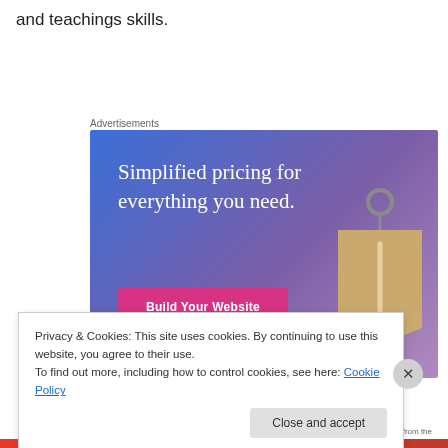and teachings skills.
Advertisements
[Figure (illustration): Advertisement banner with gradient blue-purple background showing text 'Simplified pricing for everything you need.' with a pink 'Build Your Website' button and a price tag graphic on the right.]
Privacy & Cookies: This site uses cookies. By continuing to use this website, you agree to their use.
To find out more, including how to control cookies, see here: Cookie Policy
Close and accept